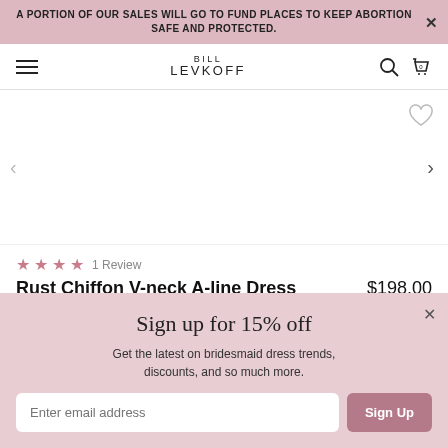A PORTION OF OUR SALES WILL GO TO FUND PLACES TO KEEP ABORTION SAFE AND PROTECTED.
[Figure (logo): Bill Levkoff brand logo with navigation icons (hamburger menu, search, cart)]
[Figure (illustration): Product image area with left/right navigation arrows and heart wishlist icon]
★★★★ 1 Review
Rust Chiffon V-neck A-line Dress   $198.00
or 4 interest-free installments of $49.50 by afterpay
Sign up for 15% off
Get the latest on bridesmaid dress trends, discounts, and so much more.
Enter email address
Sign Up